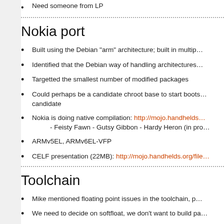Need someone from LP
Nokia port
Built using the Debian "arm" architecture; built in multip…
Identified that the Debian way of handling architectures…
Targetted the smallest number of modified packages
Could perhaps be a candidate chroot base to start boots… candidate
Nokia is doing native compilation: http://mojo.handhelds… - Feisty Fawn - Gutsy Gibbon - Hardy Heron (in pro…
ARMv5EL, ARMv6EL-VFP
CELF presentation (22MB): http://mojo.handhelds.org/file…
Toolchain
Mike mentioned floating point issues in the toolchain, p…
We need to decide on softfloat, we don't want to build pa…